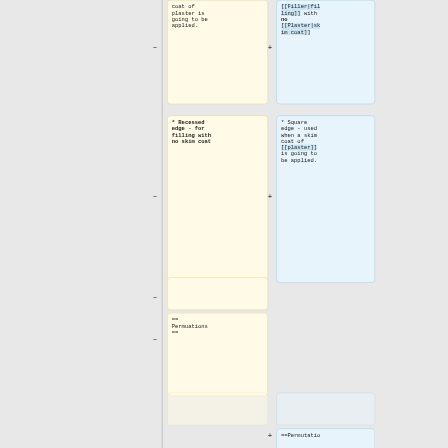coat of plaster is going to be applied.
[[Filler|filling]] with no [[Plaster|skim coat]]
* Recessed edge - for filling with no skim coat
* Square edge - used when a skim coat of [[plaster]] is going to be applied.
== Permuations ==
==Permutatio